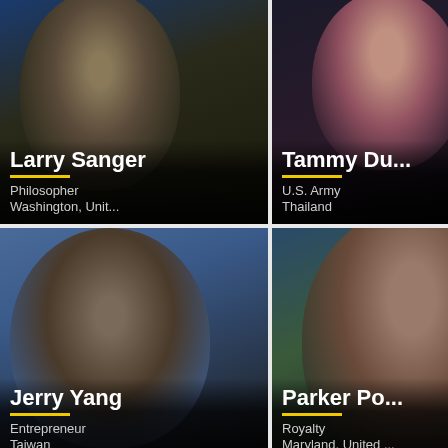[Figure (photo): Portrait photo of Larry Sanger in academic regalia]
Larry Sanger
Philosopher
Washington, Unit...
[Figure (photo): Portrait photo of Tammy Du...]
Tammy Du...
U.S. Army
Thailand
[Figure (photo): Portrait photo of Jerry Yang]
Jerry Yang
Entrepreneur
Taiwan
[Figure (photo): Portrait photo of Parker Po...]
Parker Po...
Royalty
Maryland, United ...
[Figure (photo): Black and white portrait photo, bottom left]
[Figure (photo): Black and white portrait photo, bottom right]